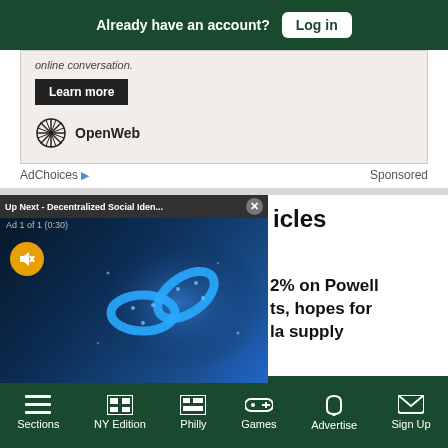Already have an account? Log in
online conversation.
Learn more
[Figure (logo): OpenWeb logo with starburst/asterisk icon and text 'OpenWeb']
AdChoices  Sponsored
[Figure (screenshot): Video ad overlay showing 'Up Next - Decentralized Social Iden...' with a close X button, 'Ad 1 of 1 (0:30)' label, mute button, and blockchain chain image in blue tones]
icles
2% on Powell
ts, hopes for
la supply
Sections  NY Edition  Philly  Games  Advertise  Sign Up